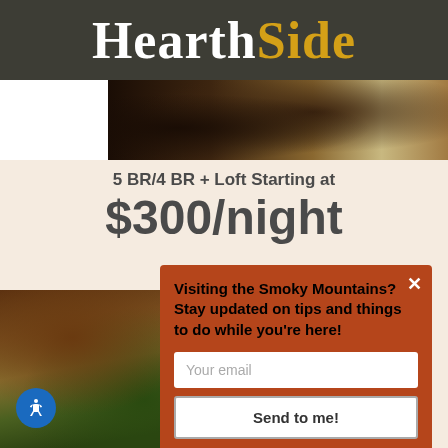HearthSide
[Figure (photo): Interior photo strip showing dark wood furniture and cabin-style woodwork]
5 BR/4 BR + Loft Starting at $300/night
[Figure (photo): Interior photo of a cabin recreation room with mini golf putting greens and warm wood walls]
Visiting the Smoky Mountains? Stay updated on tips and things to do while you're here!
Your email
Send to me!